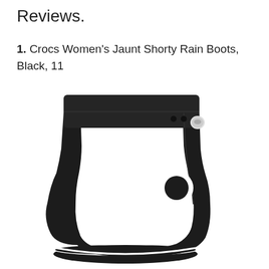Reviews.
1. Crocs Women's Jaunt Shorty Rain Boots, Black, 11
[Figure (photo): Black Crocs Women's Jaunt Shorty Rain Boot shown in profile view. Short ankle-height rubber rain boot in matte black with white sole stripe, white circular port hole detail on the side, and small holes near the top cuff with a Crocs logo badge.]